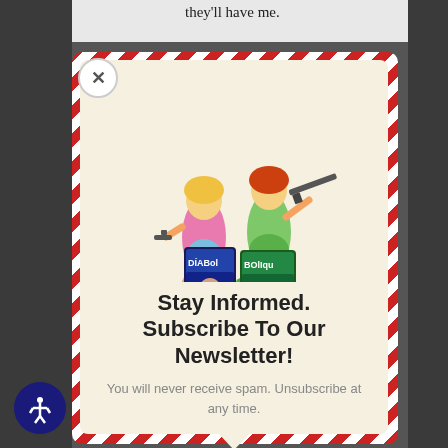they'll have me.
[Figure (illustration): Newsletter signup modal popup with red and white diagonal stripe border on cream background. Contains an illustration of two women (one blonde in pink dress, one redhead in green dress) holding weapons and posing with Diabolik/Bolique comic magazines. Below is text 'Stay Informed. Subscribe To Our Newsletter!' and subtitle 'You will never receive spam. Unsubscribe at any time.' with a close (X) button in the top-left corner of the modal, and an accessibility icon button in the bottom-left of the screen.]
Stay Informed. Subscribe To Our Newsletter!
You will never receive spam. Unsubscribe at any time.